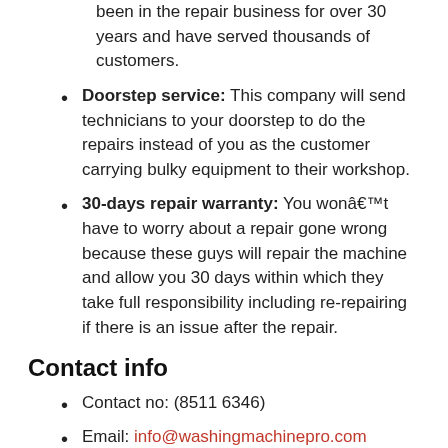been in the repair business for over 30 years and have served thousands of customers.
Doorstep service: This company will send technicians to your doorstep to do the repairs instead of you as the customer carrying bulky equipment to their workshop.
30-days repair warranty: You wonât have to worry about a repair gone wrong because these guys will repair the machine and allow you 30 days within which they take full responsibility including re-repairing if there is an issue after the repair.
Contact info
Contact no: (8511 6346)
Email: info@washingmachinepro.com